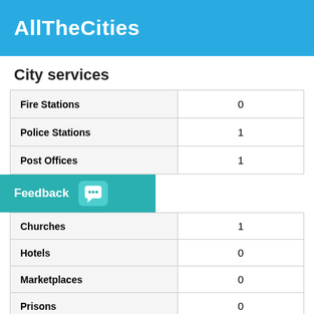AllTheCities
City services
|  |  |
| --- | --- |
| Fire Stations | 0 |
| Police Stations | 1 |
| Post Offices | 1 |
Feedback
|  |  |
| --- | --- |
| Churches | 1 |
| Hotels | 0 |
| Marketplaces | 0 |
| Prisons | 0 |
| Shops | 4 |